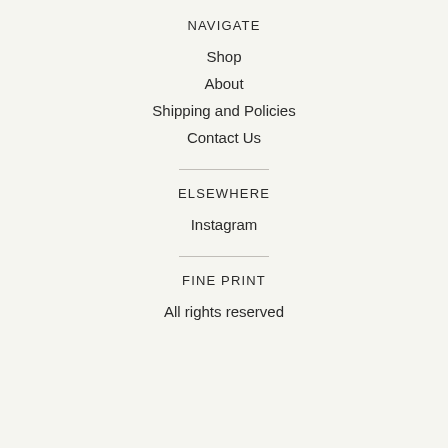NAVIGATE
Shop
About
Shipping and Policies
Contact Us
ELSEWHERE
Instagram
FINE PRINT
All rights reserved